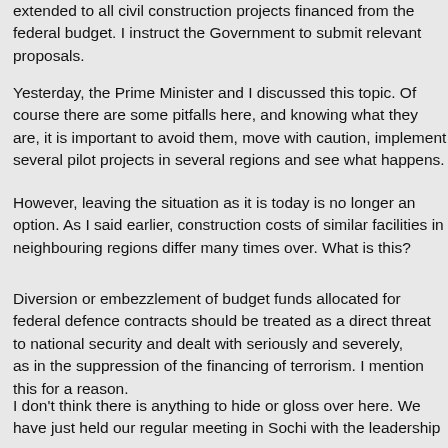extended to all civil construction projects financed from the federal budget. I instruct the Government to submit relevant proposals.
Yesterday, the Prime Minister and I discussed this topic. Of course there are some pitfalls here, and knowing what they are, it is important to avoid them, move with caution, implement several pilot projects in several regions and see what happens.
However, leaving the situation as it is today is no longer an option. As I said earlier, construction costs of similar facilities in neighbouring regions differ many times over. What is this?
Diversion or embezzlement of budget funds allocated for federal defence contracts should be treated as a direct threat to national security and dealt with seriously and severely, as in the suppression of the financing of terrorism. I mention this for a reason.
I don't think there is anything to hide or gloss over here. We have just held our regular meeting in Sochi with the leadership